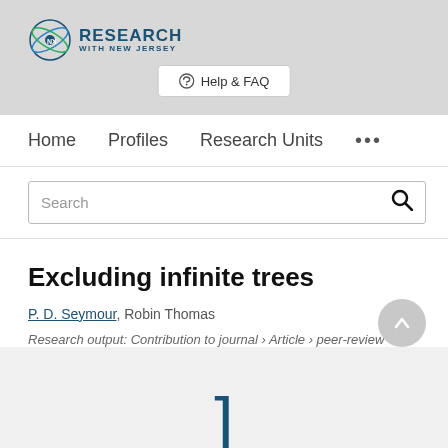[Figure (logo): Research with New Jersey logo — atom/molecule icon with 'RESEARCH WITH NEW JERSEY' text]
Help & FAQ
Home   Profiles   Research Units   •••
Search
Excluding infinite trees
P. D. Seymour, Robin Thomas
Research output: Contribution to journal › Article › peer-review